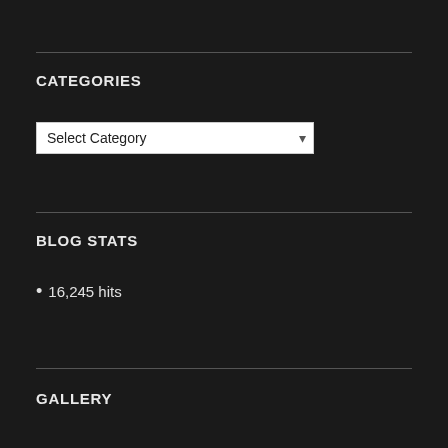CATEGORIES
Select Category
BLOG STATS
16,245 hits
GALLERY